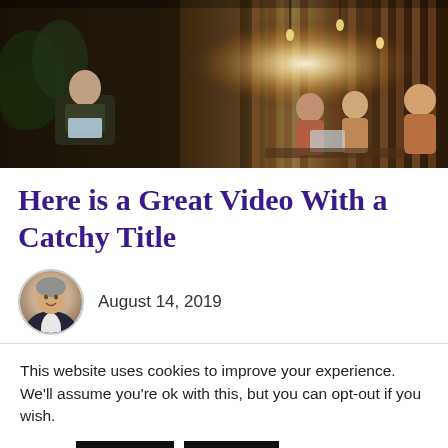[Figure (photo): Hero image showing people in a modern co-working/cafe space with warm lighting, wooden slat ceiling, and hanging lights on the right side; a man with a laptop on the left.]
Here is a Great Video With a Catchy Title
[Figure (photo): Circular author avatar showing a middle-aged man in a dark suit with light shirt, smiling.]
August 14, 2019
This website uses cookies to improve your experience. We'll assume you're ok with this, but you can opt-out if you wish.
Accept   Reject   Read More